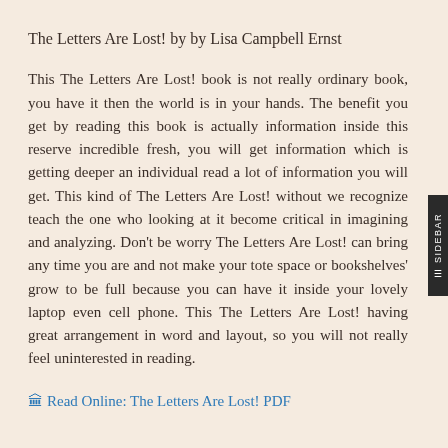The Letters Are Lost! by by Lisa Campbell Ernst
This The Letters Are Lost! book is not really ordinary book, you have it then the world is in your hands. The benefit you get by reading this book is actually information inside this reserve incredible fresh, you will get information which is getting deeper an individual read a lot of information you will get. This kind of The Letters Are Lost! without we recognize teach the one who looking at it become critical in imagining and analyzing. Don't be worry The Letters Are Lost! can bring any time you are and not make your tote space or bookshelves' grow to be full because you can have it inside your lovely laptop even cell phone. This The Letters Are Lost! having great arrangement in word and layout, so you will not really feel uninterested in reading.
🏛Read Online: The Letters Are Lost! PDF